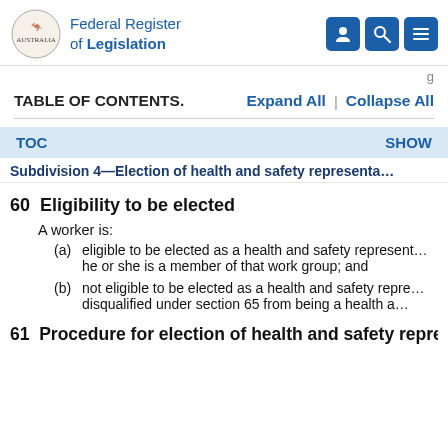Federal Register of Legislation
TABLE OF CONTENTS.    Expand All  |  Collapse All
TOC    SHOW
Subdivision 4—Election of health and safety representa...
60  Eligibility to be elected
A worker is:
(a)   eligible to be elected as a health and safety represent... he or she is a member of that work group; and
(b)   not eligible to be elected as a health and safety repre... disqualified under section 65 from being a health a...
61  Procedure for election of health and safety representativ...